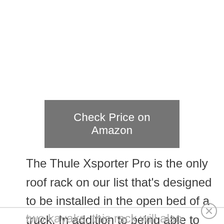[Figure (other): Button linking to Amazon product page reading 'Check Price on Amazon' on a grey background]
The Thule Xsporter Pro is the only roof rack on our list that's designed to be installed in the open bed of a truck. In addition to being able to handle up to two kayaks, this rack will also give you the versatility to transport lumber and